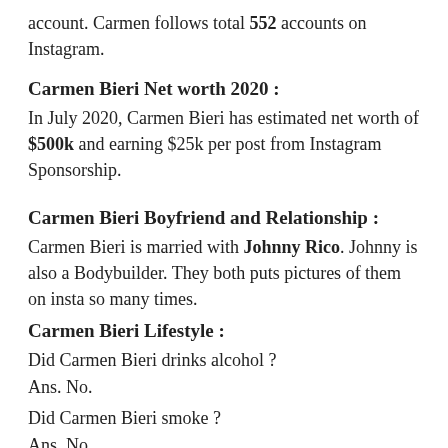account. Carmen follows total 552 accounts on Instagram.
Carmen Bieri Net worth 2020 :
In July 2020, Carmen Bieri has estimated net worth of $500k and earning $25k per post from Instagram Sponsorship.
Carmen Bieri Boyfriend and Relationship :
Carmen Bieri is married with Johnny Rico. Johnny is also a Bodybuilder. They both puts pictures of them on insta so many times.
Carmen Bieri Lifestyle :
Did Carmen Bieri drinks alcohol ?
Ans. No.
Did Carmen Bieri smoke ?
Ans. No.
Did Carmen Bieri owns a pet ?
Ans. Yes.